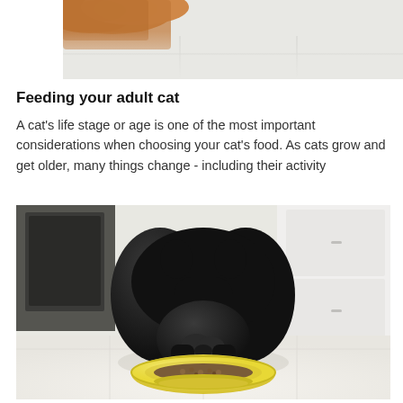[Figure (photo): Partial photo of an orange/amber cat visible from above, with white/grey tiled floor background, cropped at top of page]
Feeding your adult cat
A cat’s life stage or age is one of the most important considerations when choosing your cat’s food. As cats grow and get older, many things change - including their activity
[Figure (photo): A black cat or dog eating dry food (kibble) from a yellow bowl on a white floor, kitchen background with white cabinets]